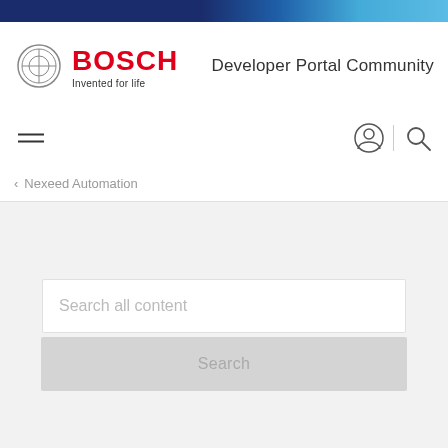[Figure (logo): Bosch logo with red BOSCH text, Invented for life tagline, and circular emblem. Right side shows Developer Portal Community text.]
Developer Portal Community
[Figure (screenshot): Navigation bar with hamburger menu icon on left and user account icon and search icon on right]
Nexeed Automation
Search all content
Search